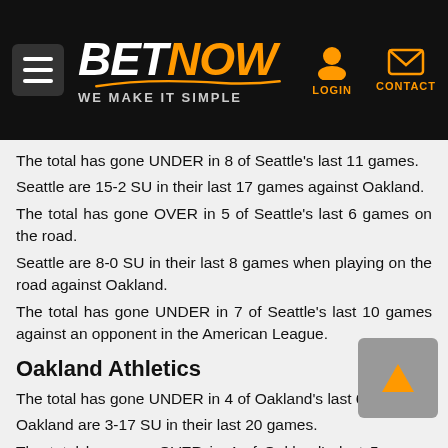BETNOW — WE MAKE IT SIMPLE
The total has gone UNDER in 8 of Seattle's last 11 games.
Seattle are 15-2 SU in their last 17 games against Oakland.
The total has gone OVER in 5 of Seattle's last 6 games on the road.
Seattle are 8-0 SU in their last 8 games when playing on the road against Oakland.
The total has gone UNDER in 7 of Seattle's last 10 games against an opponent in the American League.
Oakland Athletics
The total has gone UNDER in 4 of Oakland's last 6 games.
Oakland are 3-17 SU in their last 20 games.
The total has gone OVER in 4 of Oakland's last 5 games against Seattle.
Oakland are 1-10 SU in their last 11 games at home.
Oakland are 0-8 SU in their last 8 games when playing at home against Seattle.